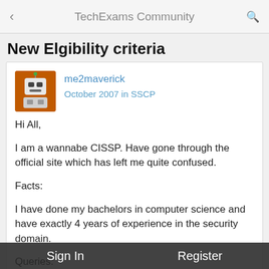TechExams Community
New Elgibility criteria
me2maverick
October 2007 in SSCP
Hi All,

I am a wannabe CISSP. Have gone through the official site which has left me quite confused.

Facts:

I have done my bachelors in computer science and have exactly 4 years of experience in the security domain.

Queries:

1. As per the new regulations, am I eligible?
2. What exactly does "an applicable college degree" mean? I have degree from a regional college outside ISC2...
Sign In   Register